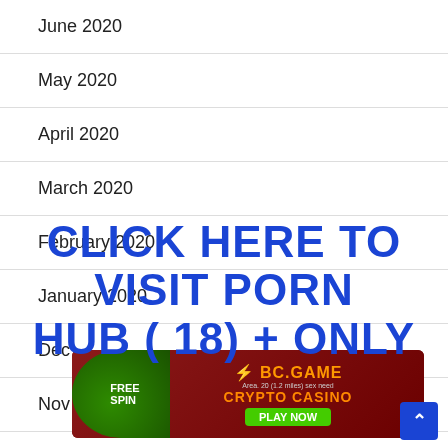June 2020
May 2020
April 2020
March 2020
February 2020
January 2020
December
November
[Figure (infographic): BC.GAME Crypto Casino advertisement banner with FREE SPIN wheel and cartoon character, PLAY NOW button]
CLICK HERE TO VISIT PORN HUB (18) + ONLY